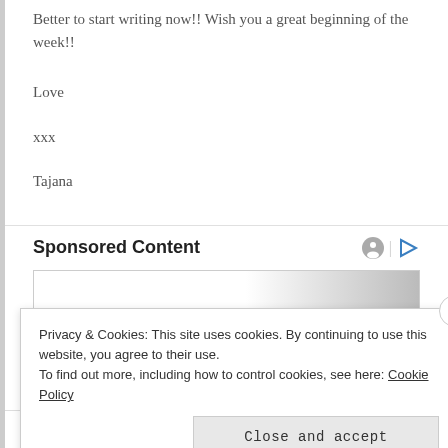Better to start writing now!! Wish you a great beginning of the week!!
Love
xxx
Tajana
Sponsored Content
[Figure (other): Sponsored content advertisement box with gradient background]
Privacy & Cookies: This site uses cookies. By continuing to use this website, you agree to their use.
To find out more, including how to control cookies, see here: Cookie Policy
Close and accept
Follow ...